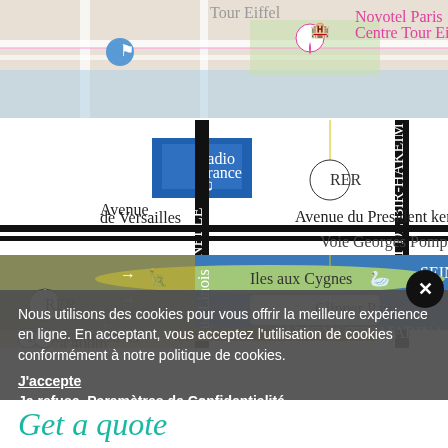[Figure (map): Google Maps screenshot showing Novotel Paris Centre Tour Eiffel location marker in pink/red with hotel icon, partial street map of Paris near Tour Eiffel, showing streets and a blue water area (Seine river).]
[Figure (map): Illustrated map of the area near the Seine river in Paris, showing Radio France building, RER station, Avenue du President Kennedy, Voie Georges Pompidou, Ile aux Cygnes island, Clipper Paris boat, Paris Yacht Marina, Pont de Bir-Hakeim bridge, RER C station Javel at 400m, and Rue Linois. Shows walking directions with arrows.]
[Figure (other): Cookie consent popup overlay (semi-transparent dark grey background) with text in French about cookies policy, with J'accepte, Je refuse, and Parametres de Confidentialite buttons. Also shows a black circular close button with X in the top right corner.]
Get a quote